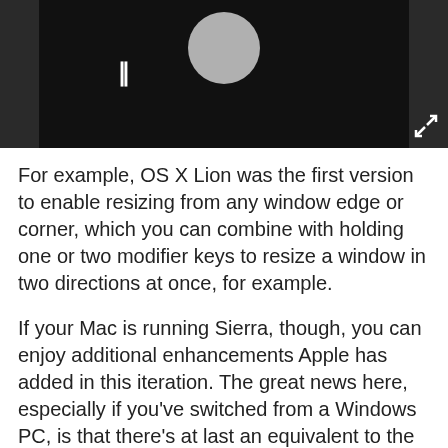[Figure (screenshot): Video player with dark background, pause button, circular icon, and expand arrow in bottom-right corner]
For example, OS X Lion was the first version to enable resizing from any window edge or corner, which you can combine with holding one or two modifier keys to resize a window in two directions at once, for example.
If your Mac is running Sierra, though, you can enjoy additional enhancements Apple has added in this iteration. The great news here, especially if you've switched from a Windows PC, is that there's at last an equivalent to the Maximize command found in Microsoft's operating system, so you can make a window fill the desktop with a double-click.
Related to that, you can instruct the system in how to...